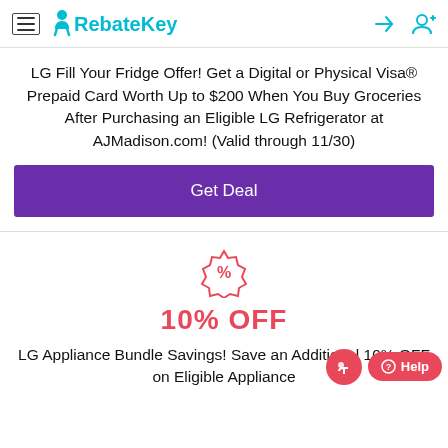RebateKey
LG Fill Your Fridge Offer! Get a Digital or Physical Visa® Prepaid Card Worth Up to $200 When You Buy Groceries After Purchasing an Eligible LG Refrigerator at AJMadison.com! (Valid through 11/30)
Get Deal
[Figure (infographic): Percent badge icon (pink/red outlined badge with % symbol)]
10% OFF
LG Appliance Bundle Savings! Save an Additional 10% OFF on Eligible Appliance